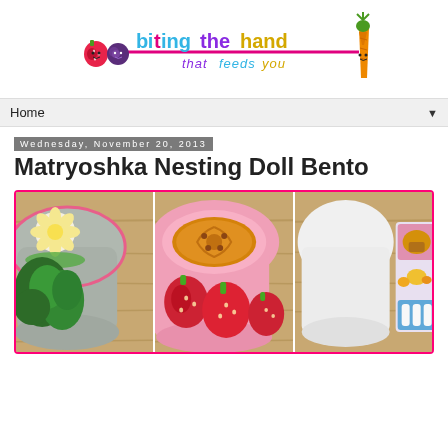[Figure (logo): Blog logo: 'biting the hand that feeds you' with colorful lettering and cartoon fruit/vegetable characters including a strawberry, blueberry, and carrot]
Home
Wednesday, November 20, 2013
Matryoshka Nesting Doll Bento
[Figure (photo): Three bento box panels showing food: left panel has a doll-shaped bento with banana flower, broccoli; center panel shows a pink bento with hummus/nut butter and fresh strawberries; right panel shows a white doll-shaped bento lid with small colorful compartments containing finger foods]